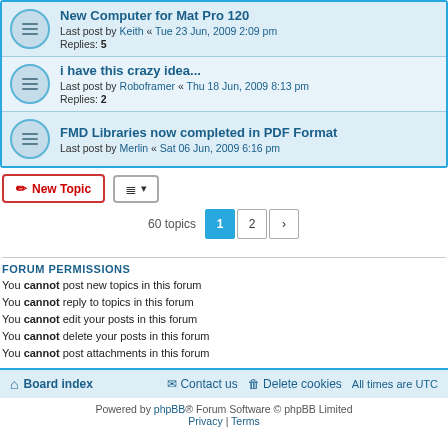New Computer for Mat Pro 120 — Last post by Keith « Tue 23 Jun, 2009 2:09 pm — Replies: 5
i have this crazy idea... — Last post by Roboframer « Thu 18 Jun, 2009 8:13 pm — Replies: 2
FMD Libraries now completed in PDF Format — Last post by Merlin « Sat 06 Jun, 2009 6:16 pm
New Topic | 60 topics  1  2  >
FORUM PERMISSIONS
You cannot post new topics in this forum
You cannot reply to topics in this forum
You cannot edit your posts in this forum
You cannot delete your posts in this forum
You cannot post attachments in this forum
Board index | Contact us | Delete cookies | All times are UTC
Powered by phpBB® Forum Software © phpBB Limited
Privacy | Terms